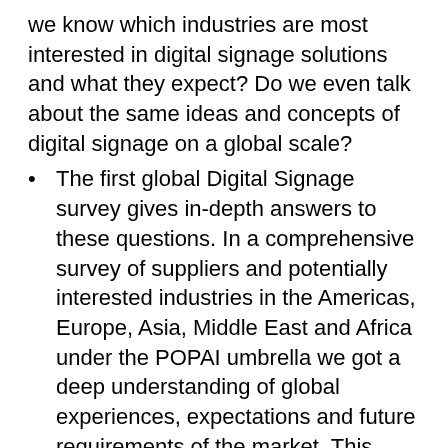we know which industries are most interested in digital signage solutions and what they expect? Do we even talk about the same ideas and concepts of digital signage on a global scale?
The first global Digital Signage survey gives in-depth answers to these questions. In a comprehensive survey of suppliers and potentially interested industries in the Americas, Europe, Asia, Middle East and Africa under the POPAI umbrella we got a deep understanding of global experiences, expectations and future requirements of the market. This presentation will present first results and discuss some of the major findings.
1:00 PM - 1:45 PM
Session 4: In-store Digital Media: New Tools, New Technologies, New Techniques
Speakers: Carre Dawson, POPAI Digital Signage